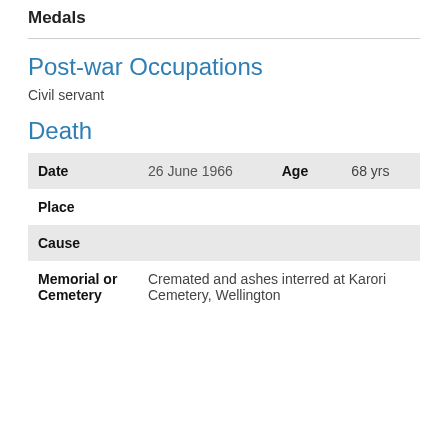Medals
Post-war Occupations
Civil servant
Death
| Field | Value | Field2 | Value2 |
| --- | --- | --- | --- |
| Date | 26 June 1966 | Age | 68 yrs |
| Place |  |  |  |
| Cause |  |  |  |
| Memorial or Cemetery | Cremated and ashes interred at Karori Cemetery, Wellington |  |  |